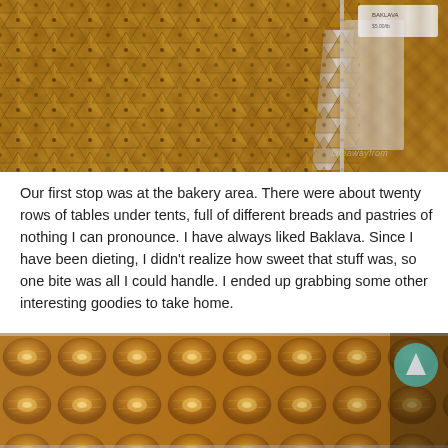[Figure (photo): Tray of triangular baklava pastries arranged in rows on a silver tray, shot from above at an angle. A watermark reads 'Lifeawayfro...' Dark background visible in upper right corner.]
Our first stop was at the bakery area. There were about twenty rows of tables under tents, full of different breads and pastries of nothing I can pronounce. I have always liked Baklava. Since I have been dieting, I didn't realize how sweet that stuff was, so one bite was all I could handle. I ended up grabbing some other interesting goodies to take home.
[Figure (photo): Rows of shredded-pastry (kadayif) desserts, resembling nests of golden-brown fried noodles, arranged on a silver baking tray. A circular teal/blue logo is visible in the upper right corner.]